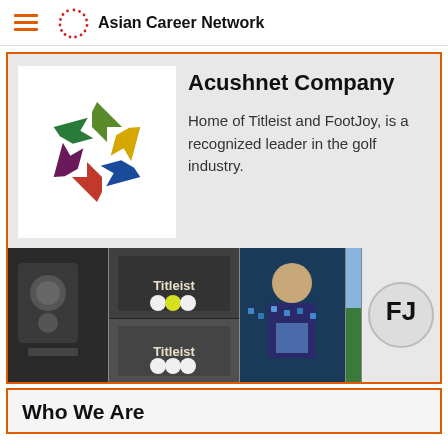Asian Career Network
Acushnet Company
Home of Titleist and FootJoy, is a recognized leader in the golf industry.
[Figure (logo): Acushnet Company colorful star/pinwheel logo made of triangular arrow shapes in green, yellow, blue, red/maroon colors]
[Figure (photo): Horizontal photo strip collage showing Titleist golf products: golf bags, Titleist golf ball boxes, a worker, golf gloves, a golfer, and FootJoy branding]
Who We Are